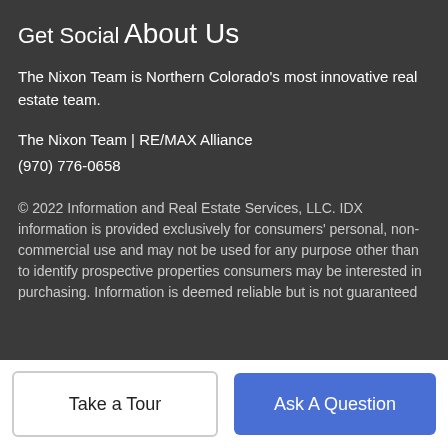Get Social
About Us
The Nixon Team is Northern Colorado's most innovative real estate team.
The Nixon Team | RE/MAX Alliance
(970) 776-0658
© 2022 Information and Real Estate Services, LLC. IDX information is provided exclusively for consumers' personal, non-commercial use and may not be used for any purpose other than to identify prospective properties consumers may be interested in purchasing. Information is deemed reliable but is not guaranteed.
Take a Tour
Ask A Question